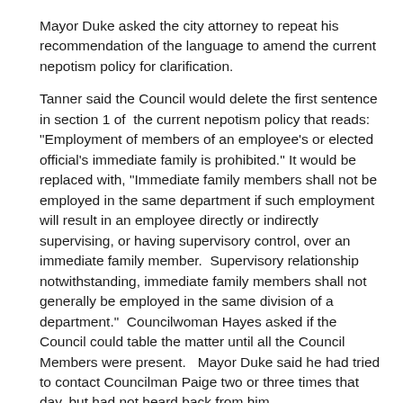Mayor Duke asked the city attorney to repeat his recommendation of the language to amend the current nepotism policy for clarification.
Tanner said the Council would delete the first sentence in section 1 of  the current nepotism policy that reads:  "Employment of members of an employee's or elected official's immediate family is prohibited." It would be replaced with, "Immediate family members shall not be employed in the same department if such employment will result in an employee directly or indirectly supervising, or having supervisory control, over an immediate family member.  Supervisory relationship notwithstanding, immediate family members shall not generally be employed in the same division of a department."  Councilwoman Hayes asked if the Council could table the matter until all the Council Members were present.   Mayor Duke said he had tried to contact Councilman Paige two or three times that day, but had not heard back from him.
Councilman Greene made a motion to approve the language of the city attorney's recommendation to amend the nepotism policy.  Councilman McClain seconded.  Members Greene, McClain, and